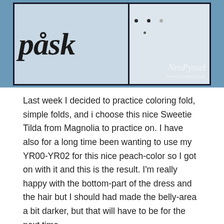[Figure (photo): Partial view of a handmade card with the word 'påsk' in bold italic script, with decorative dots, a watermark reading 'NeoPyssel' and URL www.neopyssel.se]
Last week I decided to practice coloring fold, simple folds, and i choose this nice Sweetie Tilda from Magnolia to practice on. I have also for a long time been wanting to use my YR00-YR02 for this nice peach-color so I got on with it and this is the result. I'm really happy with the bottom-part of the dress and the hair but I should had made the belly-area a bit darker, but that will have to be for the next time.
After little Tilda's dress was done I went looking for papers that would fit and I found this collection from Bo Bunny called Kitchen Spice. I think these papers are just beautiful with it soft and at the same time vibrant tones. I tried to match the design and decorate the paper around the